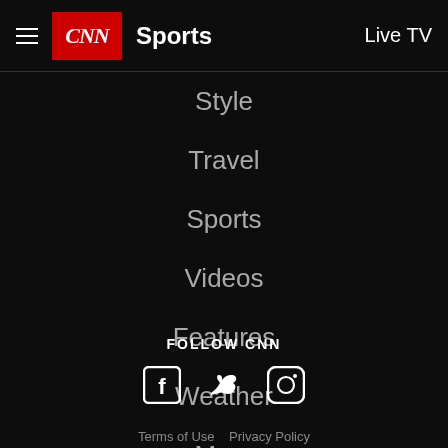CNN Sports  Live TV
Style
Travel
Sports
Videos
Features
Weather
More
[Figure (logo): CNN Sports logo — red square with CNN in white italic, followed by bold white text Sports]
FOLLOW CNN
[Figure (illustration): Social media icons: Facebook, Twitter, Instagram]
Terms of Use  Privacy Policy